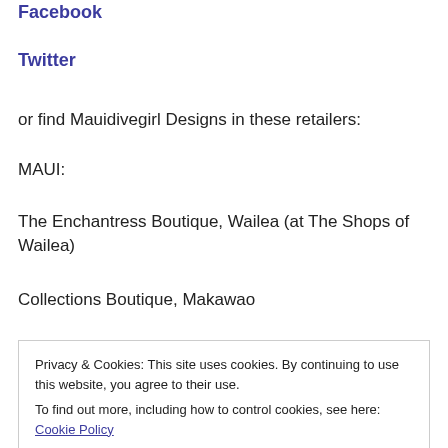Facebook
Twitter
or find Mauidivegirl Designs in these retailers:
MAUI:
The Enchantress Boutique, Wailea (at The Shops of Wailea)
Collections Boutique, Makawao
Privacy & Cookies: This site uses cookies. By continuing to use this website, you agree to their use.
To find out more, including how to control cookies, see here: Cookie Policy
Close and accept